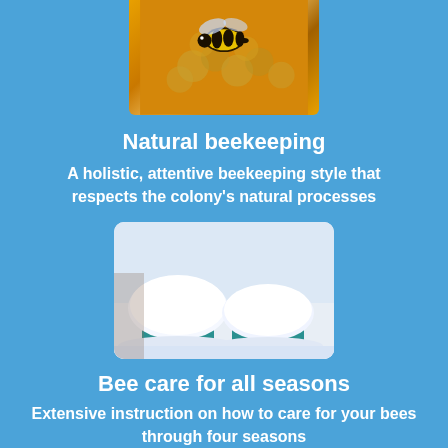[Figure (photo): Close-up photo of a bee on honeycomb with golden/amber tones]
Natural beekeeping
A holistic, attentive beekeeping style that respects the colony's natural processes
[Figure (photo): Two snow-covered beehives in winter, with teal/green colored hive boxes covered in thick snow]
Bee care for all seasons
Extensive instruction on how to care for your bees through four seasons